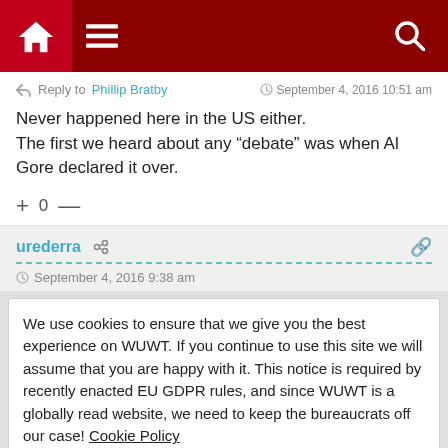[Figure (screenshot): Website navigation bar with home icon, hamburger menu, and search icon on dark red background]
Reply to Phillip Bratby — September 4, 2016 10:51 am
Never happened here in the US either.
The first we heard about any "debate" was when Al Gore declared it over.
+ 0 —
urederra — September 4, 2016 9:38 am
We use cookies to ensure that we give you the best experience on WUWT. If you continue to use this site we will assume that you are happy with it. This notice is required by recently enacted EU GDPR rules, and since WUWT is a globally read website, we need to keep the bureaucrats off our case! Cookie Policy
Close and accept